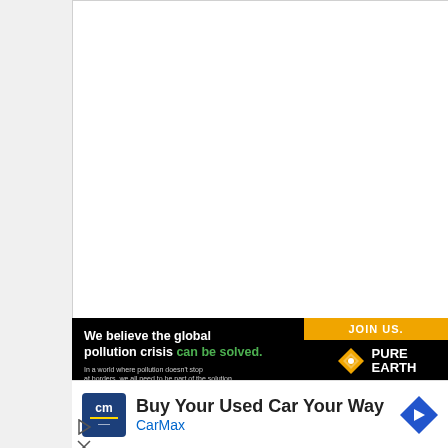[Figure (other): White document/article area occupying the upper portion of the page]
[Figure (other): Pure Earth advertisement banner: black background with text 'We believe the global pollution crisis can be solved.' with green highlight on 'can be solved.' and gold 'JOIN US.' button with Pure Earth logo on the right side.]
[Figure (other): CarMax advertisement: 'Buy Your Used Car Your Way' headline with CarMax logo (blue box with 'cm' text) on the left and a blue direction arrow icon on the right. CarMax brand name shown in blue below the headline.]